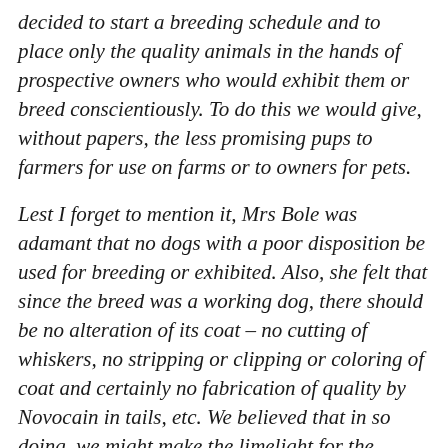decided to start a breeding schedule and to place only the quality animals in the hands of prospective owners who would exhibit them or breed conscientiously. To do this we would give, without papers, the less promising pups to farmers for use on farms or to owners for pets.
Lest I forget to mention it, Mrs Bole was adamant that no dogs with a poor disposition be used for breeding or exhibited. Also, she felt that since the breed was a working dog, there should be no alteration of its coat – no cutting of whiskers, no stripping or clipping or coloring of coat and certainly no fabrication of quality by Novocain in tails, etc. We believed that in so doing, we might make the limelight for the moment, but it would be detrimental as the end result.